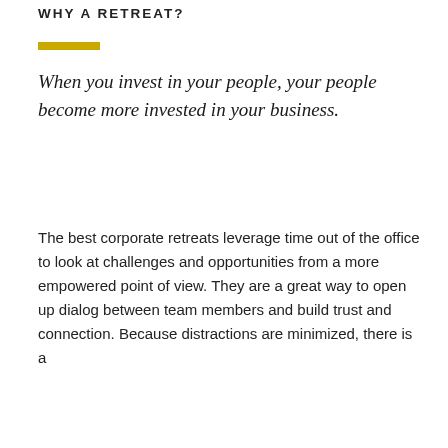WHY A RETREAT?
When you invest in your people, your people become more invested in your business.
The best corporate retreats leverage time out of the office to look at challenges and opportunities from a more empowered point of view. They are a great way to open up dialog between team members and build trust and connection. Because distractions are minimized, there is a